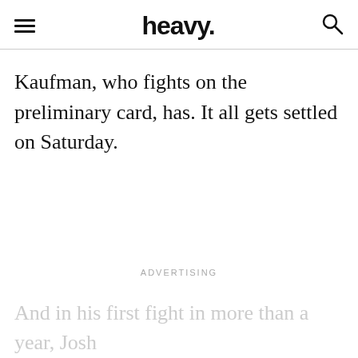heavy.
Kaufman, who fights on the preliminary card, has. It all gets settled on Saturday.
ADVERTISING
And in his first fight in more than a year, Josh